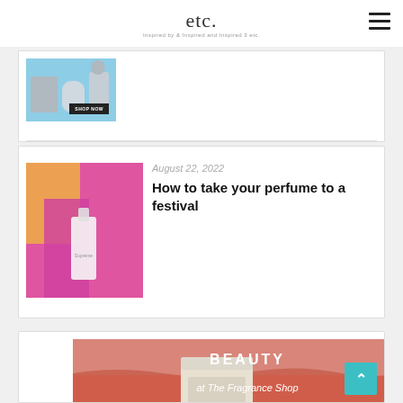etc.
[Figure (photo): Partial article thumbnail — product image with 'SHOP NOW' badge, partially visible at top of page]
August 22, 2022
How to take your perfume to a festival
[Figure (photo): Article thumbnail showing person holding perfume bottle with colorful festival clothing]
[Figure (photo): Promotional banner: BEAUTY at The Fragrance Shop — pink/salmon background with cream compact cosmetic product]